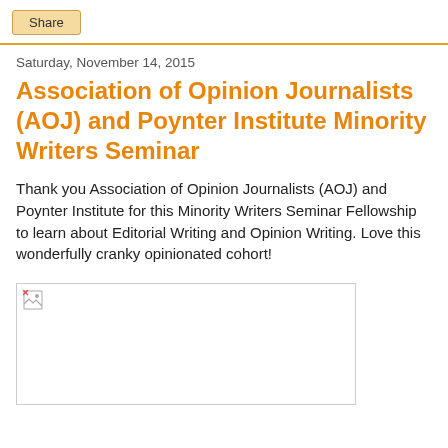Share
Saturday, November 14, 2015
Association of Opinion Journalists (AOJ) and Poynter Institute Minority Writers Seminar
Thank you Association of Opinion Journalists (AOJ) and Poynter Institute for this Minority Writers Seminar Fellowship to learn about Editorial Writing and Opinion Writing. Love this wonderfully cranky opinionated cohort!
[Figure (photo): Broken image placeholder (image failed to load)]